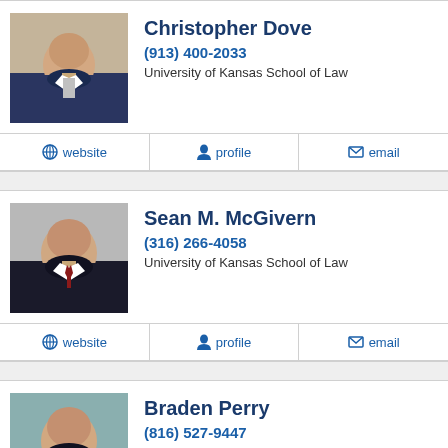[Figure (photo): Professional headshot of Christopher Dove, middle-aged man in suit]
Christopher Dove
(913) 400-2033
University of Kansas School of Law
website  profile  email
[Figure (photo): Professional headshot of Sean M. McGivern, man in dark suit with red tie]
Sean M. McGivern
(316) 266-4058
University of Kansas School of Law
website  profile  email
[Figure (photo): Professional headshot of Braden Perry, man in dark suit]
Braden Perry
(816) 527-9447
Ext. 8165279447